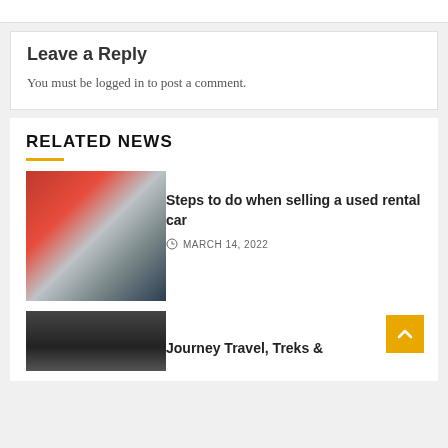Leave a Reply
You must be logged in to post a comment.
RELATED NEWS
[Figure (photo): Two people at a car dealership exchanging keys, with red and white balloon decorations in the background]
Steps to do when selling a used rental car
MARCH 14, 2022
[Figure (photo): Underside view of a vehicle, mechanical components visible]
Journey Travel, Treks &